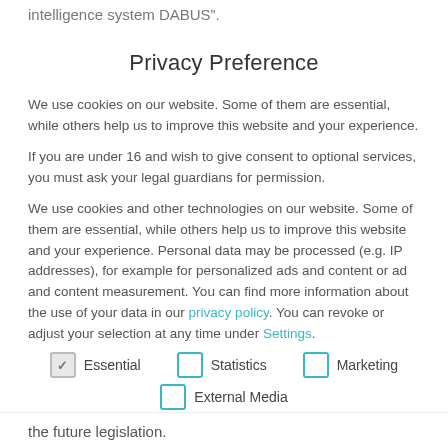intelligence system DABUS".
Privacy Preference
We use cookies on our website. Some of them are essential, while others help us to improve this website and your experience.
If you are under 16 and wish to give consent to optional services, you must ask your legal guardians for permission.
We use cookies and other technologies on our website. Some of them are essential, while others help us to improve this website and your experience. Personal data may be processed (e.g. IP addresses), for example for personalized ads and content or ad and content measurement. You can find more information about the use of your data in our privacy policy. You can revoke or adjust your selection at any time under Settings.
Essential (checked)
Statistics
Marketing
External Media
the future legislation.